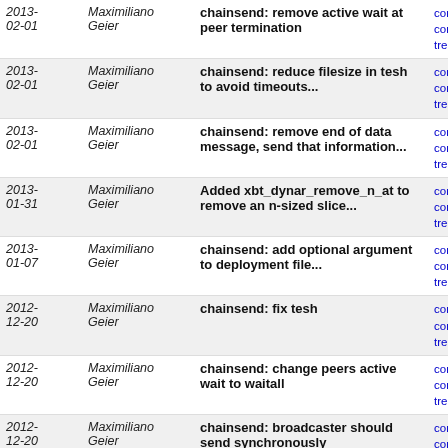| Date | Author | Message | Links |
| --- | --- | --- | --- |
| 2013-02-01 | Maximiliano Geier | chainsend: remove active wait at peer termination | commit | commitdiff | tree |
| 2013-02-01 | Maximiliano Geier | chainsend: reduce filesize in tesh to avoid timeouts... | commit | commitdiff | tree |
| 2013-02-01 | Maximiliano Geier | chainsend: remove end of data message, send that information... | commit | commitdiff | tree |
| 2013-01-31 | Maximiliano Geier | Added xbt_dynar_remove_n_at to remove an n-sized slice... | commit | commitdiff | tree |
| 2013-01-07 | Maximiliano Geier | chainsend: add optional argument to deployment file... | commit | commitdiff | tree |
| 2012-12-20 | Maximiliano Geier | chainsend: fix tesh | commit | commitdiff | tree |
| 2012-12-20 | Maximiliano Geier | chainsend: change peers active wait to waitall | commit | commitdiff | tree |
| 2012-12-20 | Maximiliano Geier | chainsend: broadcaster should send synchronously | commit | commitdiff | tree |
| 2012-12-17 | Maximiliano Geier | chainsend: print some transfer stats, move debug prints... | commit | commitdiff | tree |
| 2012-12-07 | Maximiliano Geier | chainsend: change tesh to test with 8192 pieces | commit | commitdiff | tree |
| 2012-12-07 | Maximiliano Geier | chainsend: change test platform latencies and bandwidth... | commit | commitdiff | tree |
| 2012-12-07 | Maximiliano Geier | chainsend: decrease message size, it was actually too... | commit | commitdiff | tree |
| 2012-12-07 | Maximiliano Geier | chainsend: change default number of pieces... | commit | commitdiff | tree |